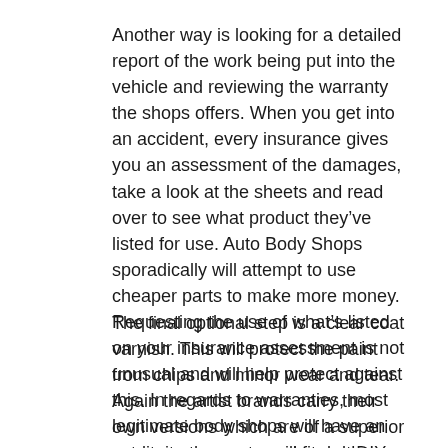Another way is looking for a detailed report of the work being put into the vehicle and reviewing the warranty the shops offers. When you get into an accident, every insurance gives you an assessment of the damages, take a look at the sheets and read over to see what product they’ve listed for use. Auto Body Shops sporadically will attempt to use cheaper parts to make more money. Requesting the use of what’s listed on your insurance assessment is not unusual and will help protect against this. In regards to warranties, most legitimate body shops will have an extensive warranty and stand by their work.
The final optional step is a clear coat varnish. This will protect the paint from chips and minor wear and tear. Again the artist brands carry their own versions which are of a superior quality to those you will find at DIY stores.